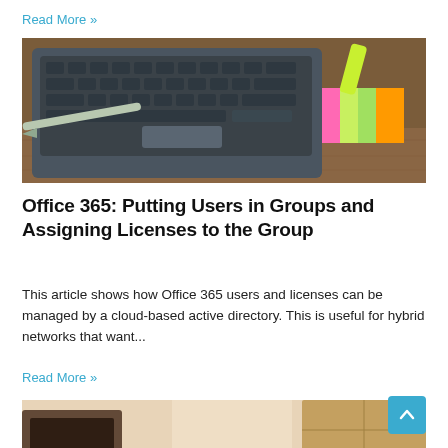Read More »
[Figure (photo): Laptop keyboard with colorful sticky note tabs and a highlighter on a wooden desk]
Office 365: Putting Users in Groups and Assigning Licenses to the Group
This article shows how Office 365 users and licenses can be managed by a cloud-based active directory. This is useful for hybrid networks that want...
Read More »
[Figure (photo): Laptop open on a desk with a cardboard box in the background, warm toned lighting]